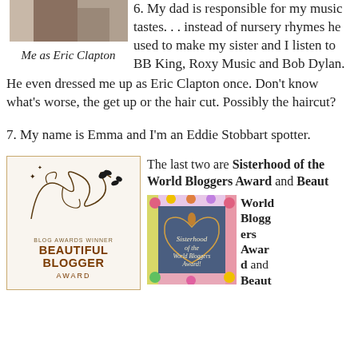[Figure (photo): Photo of person dressed as Eric Clapton, partial view at top]
Me as Eric Clapton
6. My dad is responsible for my music tastes. . . instead of nursery rhymes he used to make my sister and I listen to BB King, Roxy Music and Bob Dylan. He even dressed me up as Eric Clapton once. Don’t know what’s worse, the get up or the hair cut. Possibly the haircut?
7. My name is Emma and I’m an Eddie Stobbart spotter.
The last two are Sisterhood of the World Bloggers Award and Beaut
[Figure (illustration): Beautiful Blogger Award badge with decorative swirls]
[Figure (illustration): Sisterhood of the World Bloggers Award badge with floral border on denim background]